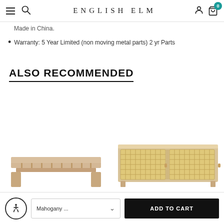ENGLISH ELM
Made in China.
Warranty: 5 Year Limited (non moving metal parts) 2 yr Parts
ALSO RECOMMENDED
[Figure (photo): Wooden furniture product image - left side]
[Figure (photo): Wooden furniture with rattan/cane drawer fronts product image - right side]
Mahogany ...
ADD TO CART